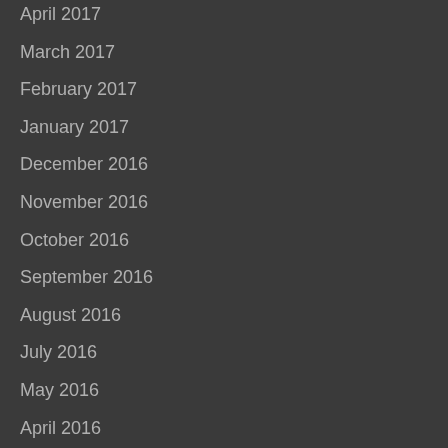April 2017
March 2017
February 2017
January 2017
December 2016
November 2016
October 2016
September 2016
August 2016
July 2016
May 2016
April 2016
March 2016
February 2016